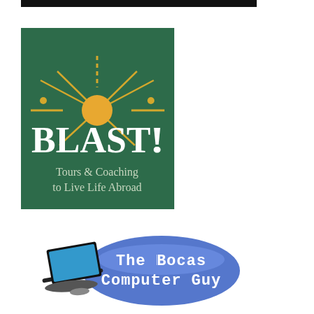[Figure (logo): BLAST! Tours & Coaching to Live Life Abroad logo — dark green square background with gold sunburst rays emanating from a gold circle, white serif text 'BLAST!' and smaller white text 'Tours & Coaching to Live Life Abroad']
[Figure (logo): The Bocas Computer Guy logo — blue oval/ellipse with white text 'The Bocas Computer Guy', with a laptop computer image on the left]